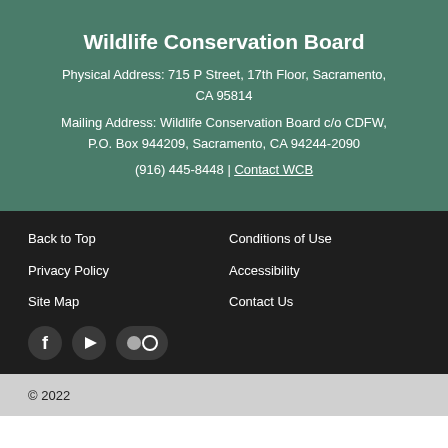Wildlife Conservation Board
Physical Address: 715 P Street, 17th Floor, Sacramento, CA 95814
Mailing Address: Wildlife Conservation Board c/o CDFW, P.O. Box 944209, Sacramento, CA 94244-2090
(916) 445-8448 | Contact WCB
Back to Top
Conditions of Use
Privacy Policy
Accessibility
Site Map
Contact Us
[Figure (logo): Social media icons: Facebook, YouTube, Flickr]
© 2022